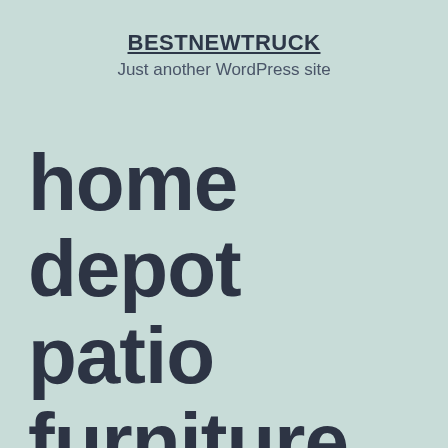BESTNEWTRUCK
Just another WordPress site
home depot patio furniture clearance Small patio